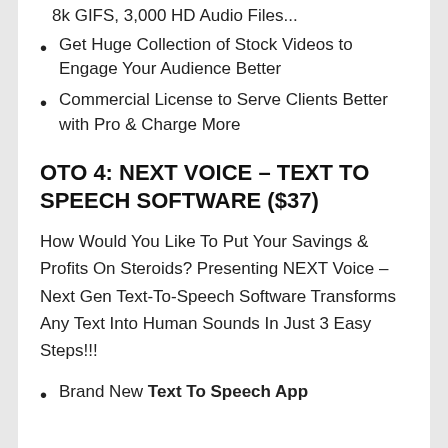8k GIFS, 3,000 HD Audio Files...
Get Huge Collection of Stock Videos to Engage Your Audience Better
Commercial License to Serve Clients Better with Pro & Charge More
OTO 4: NEXT VOICE – TEXT TO SPEECH SOFTWARE ($37)
How Would You Like To Put Your Savings & Profits On Steroids? Presenting NEXT Voice – Next Gen Text-To-Speech Software Transforms Any Text Into Human Sounds In Just 3 Easy Steps!!!
Brand New Text To Speech App